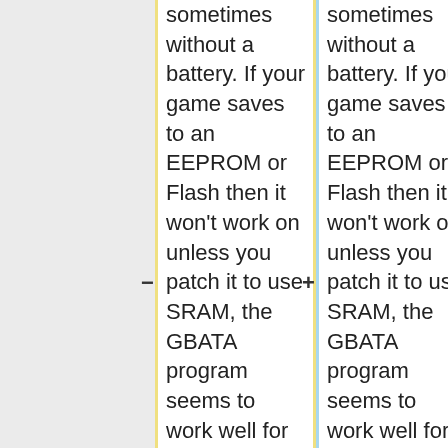sometimes without a battery. If your game saves to an EEPROM or Flash then it won't work on unless you patch it to use SRAM, the GBATA program seems to work well for this as reported by some users. If the cart you have doesn't have a spot for a battery, then you will need to patch that game to save back to the flash (there are no patching
sometimes without a battery. If your game saves to an EEPROM or Flash then it won't work on unless you patch it to use SRAM, the GBATA program seems to work well for this as reported by some users. If the cart you have doesn't have a spot for a battery, then you will need to patch that game to save back to the flash (there are no patching